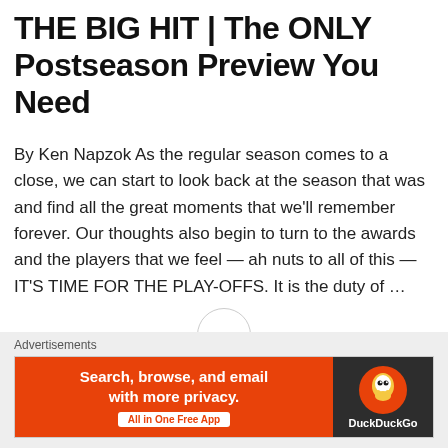THE BIG HIT | The ONLY Postseason Preview You Need
By Ken Napzok As the regular season comes to a close, we can start to look back at the season that was and find all the great moments that we'll remember forever. Our thoughts also begin to turn to the awards and the players that we feel — ah nuts to all of this — IT'S TIME FOR THE PLAY-OFFS. It is the duty of …
Continue reading
OCTOBER 1, 2019
[Figure (other): Three-dot menu button in a circle]
[Figure (other): Close (X) button circle icon]
Advertisements
[Figure (other): DuckDuckGo advertisement banner: orange left side with text 'Search, browse, and email with more privacy. All in One Free App' and dark right side with DuckDuckGo logo and name]